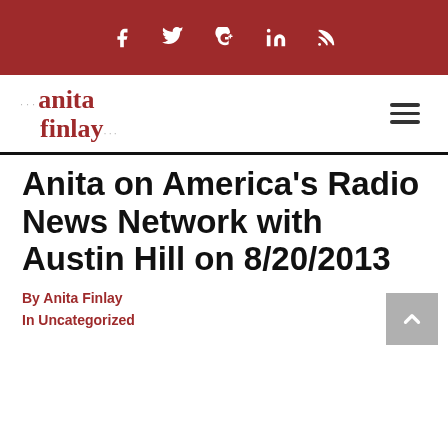Social icons: facebook, twitter, google+, linkedin, rss
[Figure (logo): Anita Finlay website logo with dots motif in red and grey, and hamburger menu icon]
Anita on America's Radio News Network with Austin Hill on 8/20/2013
By Anita Finlay
In Uncategorized